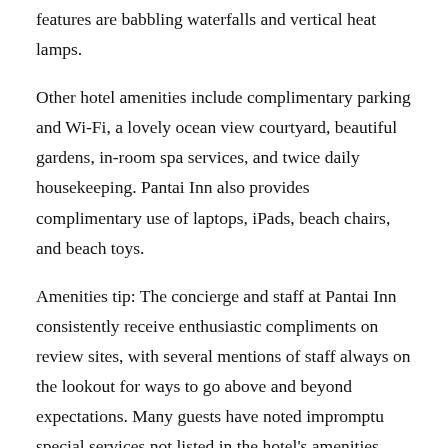features are babbling waterfalls and vertical heat lamps.
Other hotel amenities include complimentary parking and Wi-Fi, a lovely ocean view courtyard, beautiful gardens, in-room spa services, and twice daily housekeeping. Pantai Inn also provides complimentary use of laptops, iPads, beach chairs, and beach toys.
Amenities tip: The concierge and staff at Pantai Inn consistently receive enthusiastic compliments on review sites, with several mentions of staff always on the lookout for ways to go above and beyond expectations. Many guests have noted impromptu special services not listed in the hotel's amenities menu. The hotel strives to meet the standards of traditional Balinese hospitality.
Pantai Inn La Jolla